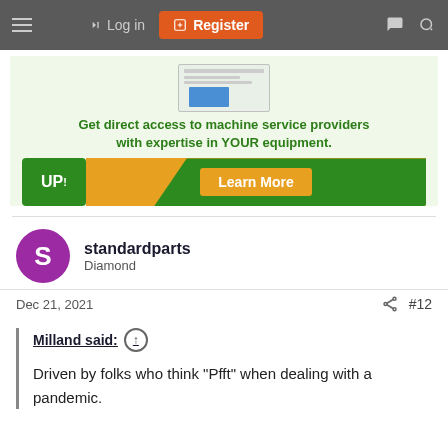Log in | Register
[Figure (screenshot): Advertisement banner for machine service provider platform. Shows a screenshot preview, text 'Get direct access to machine service providers with expertise in YOUR equipment.', UP! logo, and a Learn More button.]
standardparts
Diamond
Dec 21, 2021
#12
Milland said:
Driven by folks who think "Pfft" when dealing with a pandemic.